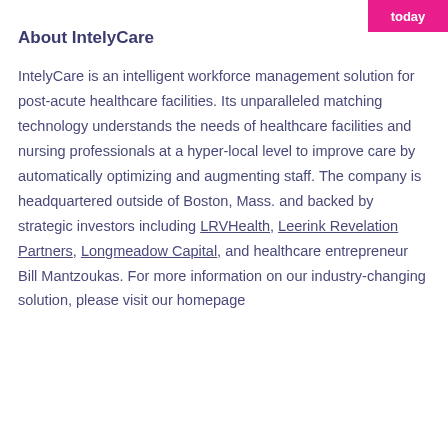today
About IntelyCare
IntelyCare is an intelligent workforce management solution for post-acute healthcare facilities. Its unparalleled matching technology understands the needs of healthcare facilities and nursing professionals at a hyper-local level to improve care by automatically optimizing and augmenting staff. The company is headquartered outside of Boston, Mass. and backed by strategic investors including LRVHealth, Leerink Revelation Partners, Longmeadow Capital, and healthcare entrepreneur Bill Mantzoukas. For more information on our industry-changing solution, please visit our homepage